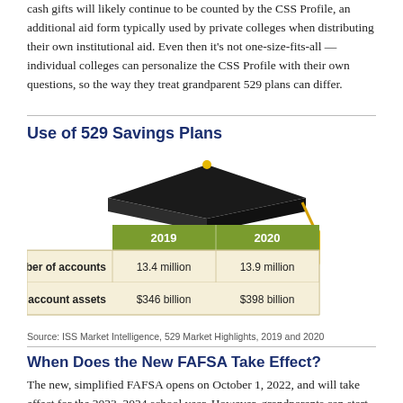cash gifts will likely continue to be counted by the CSS Profile, an additional aid form typically used by private colleges when distributing their own institutional aid. Even then it's not one-size-fits-all — individual colleges can personalize the CSS Profile with their own questions, so the way they treat grandparent 529 plans can differ.
Use of 529 Savings Plans
[Figure (table-as-image): Infographic table with graduation cap image showing 529 savings plan statistics for 2019 and 2020. Headers: 2019, 2020. Rows: Total number of accounts: 13.4 million, 13.9 million; Total account assets: $346 billion, $398 billion.]
Source: ISS Market Intelligence, 529 Market Highlights, 2019 and 2020
When Does the New FAFSA Take Effect?
The new, simplified FAFSA opens on October 1, 2022, and will take effect for the 2023–2024 school year. However, grandparents can start taking advantage of the new 529 plan